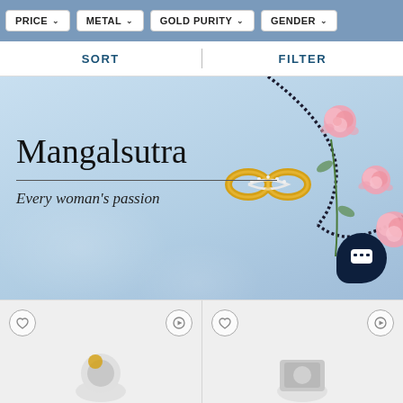PRICE  METAL  GOLD PURITY  GENDER
SORT  FILTER
[Figure (photo): Mangalsutra banner with gold infinity pendant necklace with diamonds, black beaded chain, and pink roses on a light blue textured background. Text reads 'Mangalsutra' and 'Every woman's passion'.]
[Figure (photo): Two product cards partially visible at the bottom showing jewelry items with heart (wishlist) and play (video) icons.]